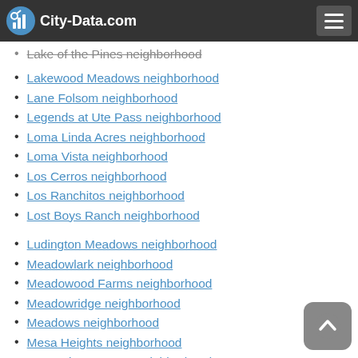City-Data.com
Lake Durango Estates neighborhood
Lake of the Pines neighborhood
Lakewood Meadows neighborhood
Lane Folsom neighborhood
Legends at Ute Pass neighborhood
Loma Linda Acres neighborhood
Loma Vista neighborhood
Los Cerros neighborhood
Los Ranchitos neighborhood
Lost Boys Ranch neighborhood
Ludington Meadows neighborhood
Meadowlark neighborhood
Meadowood Farms neighborhood
Meadowridge neighborhood
Meadows neighborhood
Mesa Heights neighborhood
Mesa Vista Estates neighborhood
Middleton neighborhood
Midway Acres neighborhood